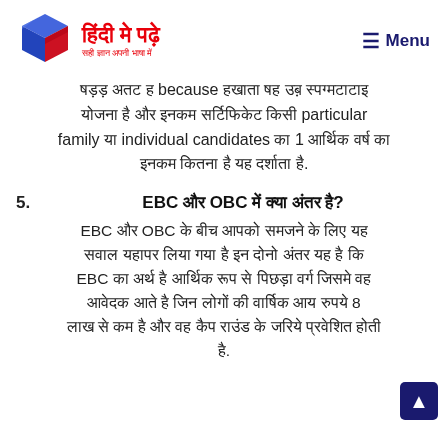हिंदी मे पढ़े — Menu
षड़ड़ अतट ह because हखाता षह उब़ स्पग्मटाटाइ योजना है और इनकम सर्टिफिकेट किसी particular family या individual candidates का 1 आर्थिक वर्ष का इनकम कितना है यह दर्शाता है.
5. EBC और OBC में क्या अंतर है?
EBC और OBC के बीच आपको समजने के लिए यह सवाल यहापर लिया गया है इन दोनो अंतर यह है कि EBC का अर्थ है आर्थिक रूप से पिछड़ा वर्ग जिसमे वह आवेदक आते है जिन लोगों की वार्षिक आय रुपये 8 लाख से कम है और वह कैप राउंड के जरिये प्रवेशित होती है.